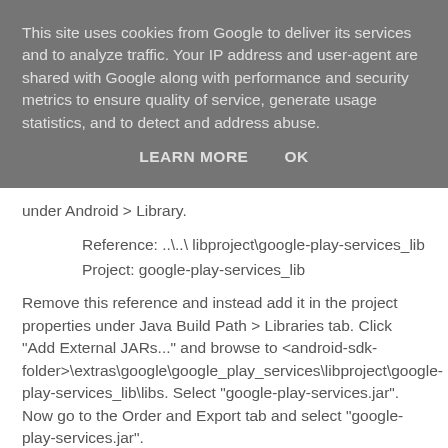This site uses cookies from Google to deliver its services and to analyze traffic. Your IP address and user-agent are shared with Google along with performance and security metrics to ensure quality of service, generate usage statistics, and to detect and address abuse.
LEARN MORE    OK
under Android > Library.
Reference: ..\..\libproject\google-play-services_lib
Project: google-play-services_lib
Remove this reference and instead add it in the project properties under Java Build Path > Libraries tab. Click "Add External JARs..." and browse to <android-sdk-folder>\extras\google\google_play_services\libproject\google-play-services_lib\libs. Select "google-play-services.jar". Now go to the Order and Export tab and select "google-play-services.jar".
Now the Google+ SDK Sample app runs and works!